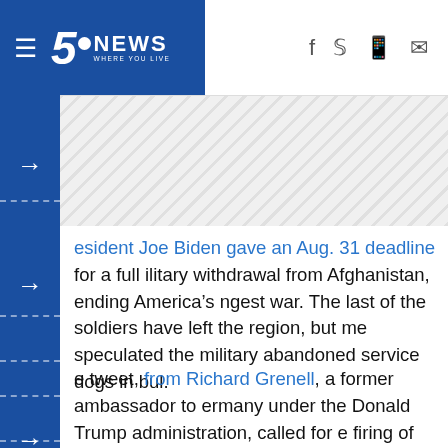5 News WHERE YOU LIVE
iming the U.S. government left military service dogs anded in cages at Kabul’s Hamid Karzai International rport.
esident Joe Biden gave an Aug. 31 deadline for a full ilitary withdrawal from Afghanistan, ending America’s ngest war. The last of the soldiers have left the region, but me speculated the military abandoned service dogs in bul.
[Figure (other): Advertisement placeholder with hatched gray pattern]
e tweet, from Richard Grenell, a former ambassador to ermany under the Donald Trump administration, called for e firing of White House National Security Advisor Jake llivan and Secretary of State Antony Blinken for the